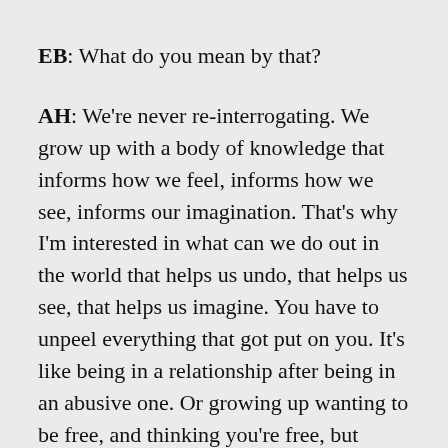EB: What do you mean by that?
AH: We're never re-interrogating. We grow up with a body of knowledge that informs how we feel, informs how we see, informs our imagination. That's why I'm interested in what can we do out in the world that helps us undo, that helps us see, that helps us imagine. You have to unpeel everything that got put on you. It's like being in a relationship after being in an abusive one. Or growing up wanting to be free, and thinking you're free, but you've weren't free until you left for college—but when you left for college that was just a change from your parents